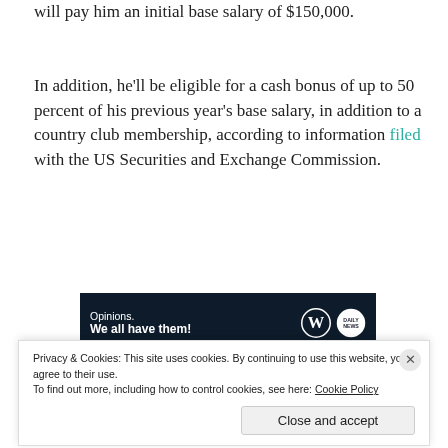will pay him an initial base salary of $150,000.
In addition, he’ll be eligible for a cash bonus of up to 50 percent of his previous year’s base salary, in addition to a country club membership, according to information filed with the US Securities and Exchange Commission.
[Figure (other): Advertisement banner: dark navy background with text 'Opinions. We all have them!' and WordPress and Daily News logos on the right.]
Kirby has his work cut out for him. Congaree made a
Privacy & Cookies: This site uses cookies. By continuing to use this website, you agree to their use. To find out more, including how to control cookies, see here: Cookie Policy
Close and accept